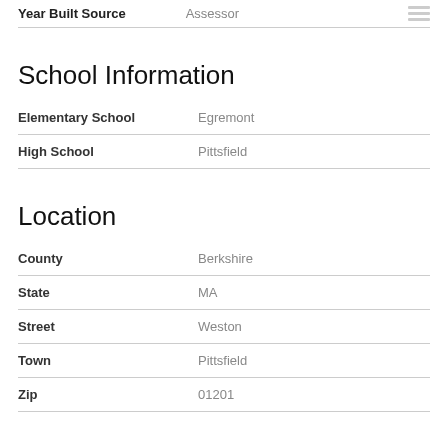| Field | Value |
| --- | --- |
| Year Built Source | Assessor |
School Information
| Field | Value |
| --- | --- |
| Elementary School | Egremont |
| High School | Pittsfield |
Location
| Field | Value |
| --- | --- |
| County | Berkshire |
| State | MA |
| Street | Weston |
| Town | Pittsfield |
| Zip | 01201 |